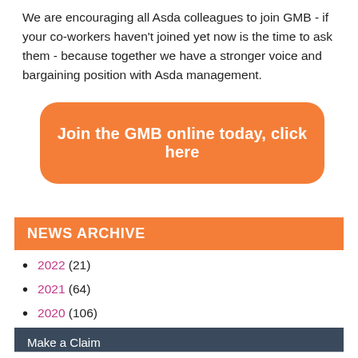We are encouraging all Asda colleagues to join GMB - if your co-workers haven't joined yet now is the time to ask them - because together we have a stronger voice and bargaining position with Asda management.
[Figure (other): Orange rounded rectangle button with white bold text: Join the GMB online today, click here]
NEWS ARCHIVE
2022 (21)
2021 (64)
2020 (106)
Make a Claim
Get in Touch